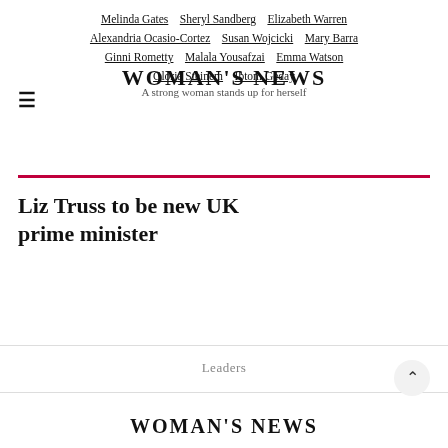Melinda Gates  Sheryl Sandberg  Elizabeth Warren  Alexandria Ocasio-Cortez  Susan Wojcicki  Mary Barra  Ginni Rometty  Malala Yousafzai  Emma Watson  Gloria Steinem  Ibtom Geday  WOMAN'S NEWS  A strong woman stands up for herself
Liz Truss to be new UK prime minister
Leaders
WOMAN'S NEWS